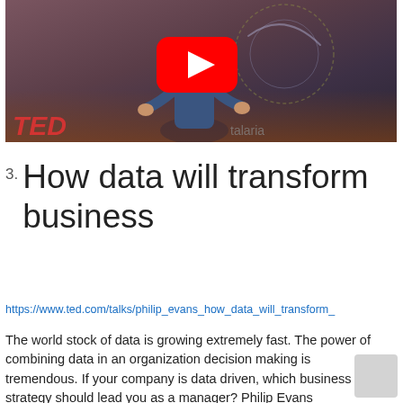[Figure (screenshot): A TED talk video thumbnail showing a woman presenter on stage in a blue outfit, with TED branding visible at the bottom left and a YouTube play button overlay in the center.]
3. How data will transform business
https://www.ted.com/talks/philip_evans_how_data_will_transform_
The world stock of data is growing extremely fast. The power of combining data in an organization decision making is tremendous. If your company is data driven, which business strategy should lead you as a manager? Philip Evans